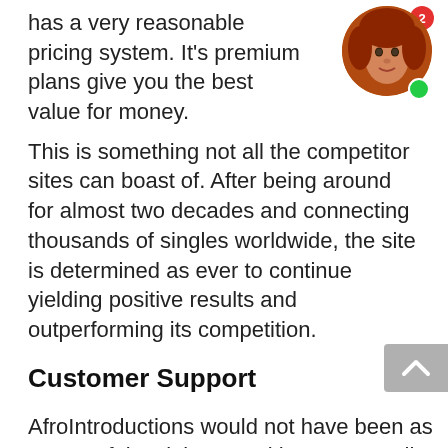has a very reasonable pricing system. It's premium plans give you the best value for money.
This is something not all the competitor sites can boast of. After being around for almost two decades and connecting thousands of singles worldwide, the site is determined as ever to continue yielding positive results and outperforming its competition.
Customer Support
AfroIntroductions would not have been as successful as it is now without an excellent customer service and support team. The team is dedicated to resolving all your doubts, billing issues, and queries.